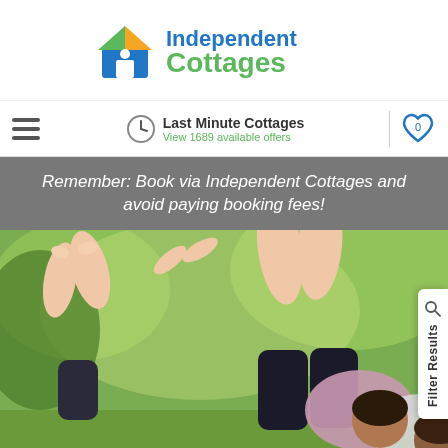[Figure (logo): Independent Cottages logo with house icon and colorful roof]
Last Minute Cottages — View 1689 available offers
Remember: Book via Independent Cottages and avoid paying booking fees!
[Figure (photo): Family or group of people lying on grass with bare feet up in the air, green park background]